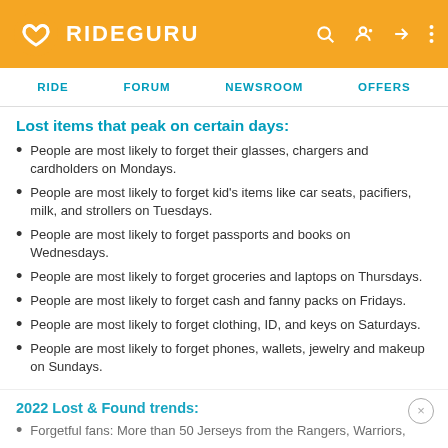RIDEGURU
RIDE  FORUM  NEWSROOM  OFFERS
Lost items that peak on certain days:
People are most likely to forget their glasses, chargers and cardholders on Mondays.
People are most likely to forget kid's items like car seats, pacifiers, milk, and strollers on Tuesdays.
People are most likely to forget passports and books on Wednesdays.
People are most likely to forget groceries and laptops on Thursdays.
People are most likely to forget cash and fanny packs on Fridays.
People are most likely to forget clothing, ID, and keys on Saturdays.
People are most likely to forget phones, wallets, jewelry and makeup on Sundays.
2022 Lost & Found trends:
Forgetful fans: More than 50 Jerseys from the Rangers, Warriors,